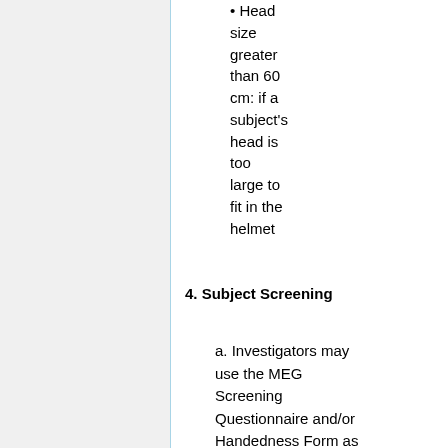• Head size greater than 60 cm: if a subject's head is too large to fit in the helmet
4. Subject Screening
a. Investigators may use the MEG Screening Questionnaire and/or Handedness Form as a subject evaluation /